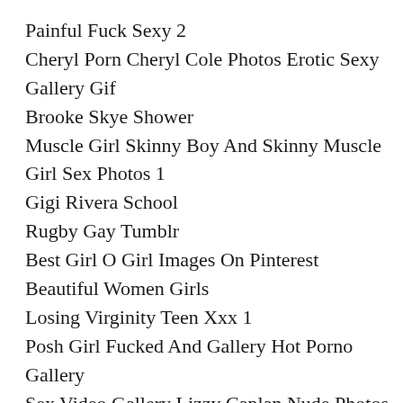Painful Fuck Sexy 2
Cheryl Porn Cheryl Cole Photos Erotic Sexy Gallery Gif
Brooke Skye Shower
Muscle Girl Skinny Boy And Skinny Muscle Girl Sex Photos 1
Gigi Rivera School
Rugby Gay Tumblr
Best Girl O Girl Images On Pinterest Beautiful Women Girls
Losing Virginity Teen Xxx 1
Posh Girl Fucked And Gallery Hot Porno Gallery
Sex Video Gallery Lizzy Caplan Nude Photos
Ex Riding Long Cock 2
Sexy Sleeveless Bollywood Actress Nude
Free Chubby Latina Solo Latina Clips Chubby